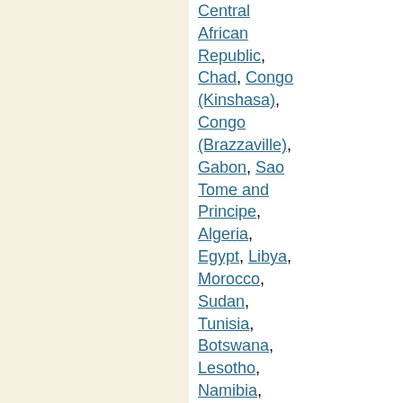Central African Republic, Chad, Congo (Kinshasa), Congo (Brazzaville), Gabon, Sao Tome and Principe, Algeria, Egypt, Libya, Morocco, Sudan, Tunisia, Botswana, Lesotho, Namibia, South Africa, Swaziland, Benin, Burkina